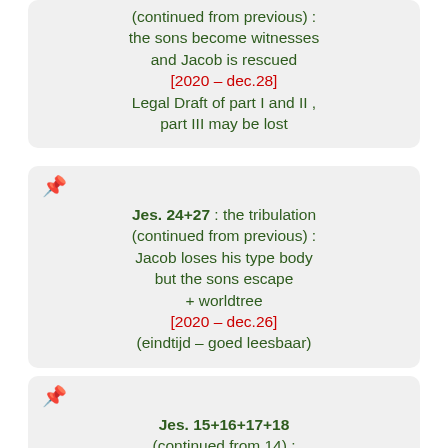(continued from previous) : the sons become witnesses and Jacob is rescued [2020 – dec.28] Legal Draft of part I and II , part III may be lost
Jes. 24+27 : the tribulation (continued from previous) : Jacob loses his type body but the sons escape + worldtree [2020 – dec.26] (eindtijd – goed leesbaar)
Jes. 15+16+17+18 (continued from 14) :